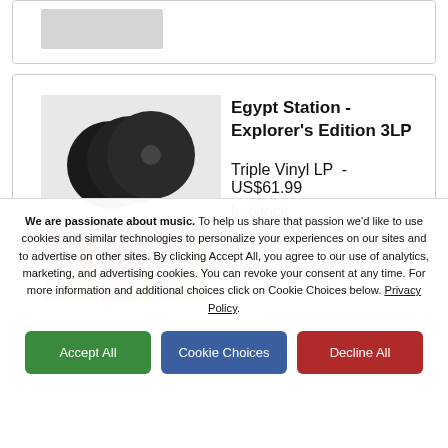[Figure (photo): Partial product card at top, showing a grey placeholder image]
[Figure (photo): Egypt Station Explorer's Edition 3LP album cover with three vinyl discs and multiple album sleeves shown]
Egypt Station - Explorer’s Edition 3LP
Triple Vinyl LP  -  US$61.99
In Stock
[Figure (photo): Partial product card at bottom]
We are passionate about music. To help us share that passion we’d like to use cookies and similar technologies to personalize your experiences on our sites and to advertise on other sites. By clicking Accept All, you agree to our use of analytics, marketing, and advertising cookies. You can revoke your consent at any time. For more information and additional choices click on Cookie Choices below. Privacy Policy.
Accept All
Cookie Choices
Decline All